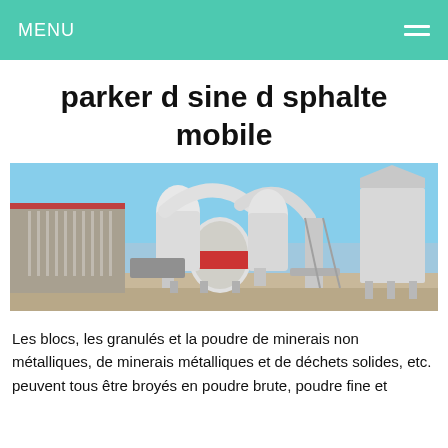MENU
parker d sine d sphalte mobile
[Figure (photo): Industrial mobile asphalt plant with large white cylindrical mills, ductwork, conveyors, and storage silos on a concrete pad outdoors]
Les blocs, les granulés et la poudre de minerais non métalliques, de minerais métalliques et de déchets solides, etc. peuvent tous être broyés en poudre brute, poudre fine et